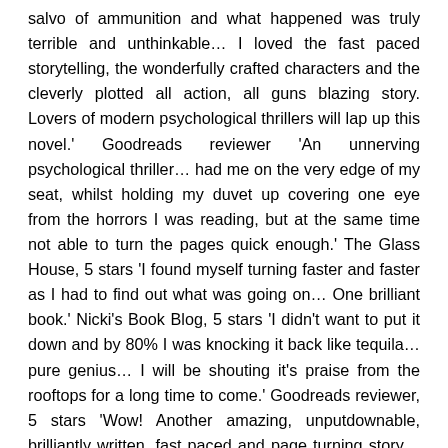salvo of ammunition and what happened was truly terrible and unthinkable… I loved the fast paced storytelling, the wonderfully crafted characters and the cleverly plotted all action, all guns blazing story. Lovers of modern psychological thrillers will lap up this novel.' Goodreads reviewer 'An unnerving psychological thriller… had me on the very edge of my seat, whilst holding my duvet up covering one eye from the horrors I was reading, but at the same time not able to turn the pages quick enough.' The Glass House, 5 stars 'I found myself turning faster and faster as I had to find out what was going on… One brilliant book.' Nicki's Book Blog, 5 stars 'I didn't want to put it down and by 80% I was knocking it back like tequila… pure genius… I will be shouting it's praise from the rooftops for a long time to come.' Goodreads reviewer, 5 stars 'Wow! Another amazing, unputdownable, brilliantly written, fast paced and page turning story… One of the best thrillers I have read from an author to watch. Brilliant. Unforgettable.' Renita D'Silva, 5 stars